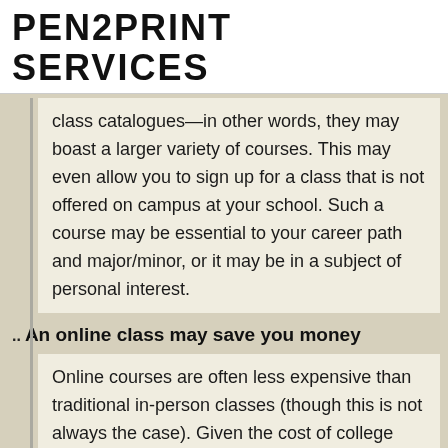PEN2PRINT SERVICES
class catalogues—in other words, they may boast a larger variety of courses. This may even allow you to sign up for a class that is not offered on campus at your school. Such a course may be essential to your career path and major/minor, or it may be in a subject of personal interest.
An online class may save you money
Online courses are often less expensive than traditional in-person classes (though this is not always the case). Given the cost of college tuition and the likely possibility of graduating with debt, this can be a very appealing quality of online courses. Set aside time to compare costs, and if you believe that it will save you a significant amount of money, consider at least one online class this fall.